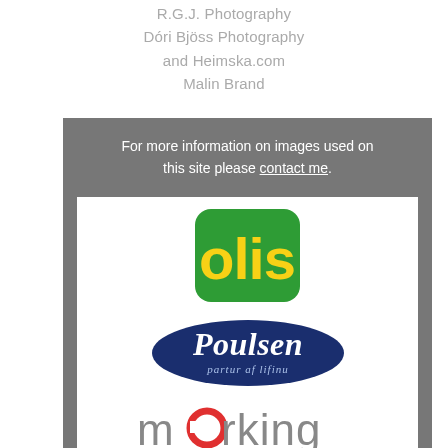R.G.J. Photography
Dóri Bjöss Photography
and Heimska.com
Malin Brand
For more information on images used on this site please contact me.
[Figure (logo): Olis logo - green rounded square with yellow text 'olis']
[Figure (logo): Poulsen logo - dark blue oval with white italic text 'Poulsen' and tagline 'partur af lifinu']
[Figure (logo): merking logo - grey lowercase text with a red circle as the letter 'o']
[Figure (logo): Domino's logo - red diamond domino symbol with blue 'Domino's' text and a blue circle with three dots]